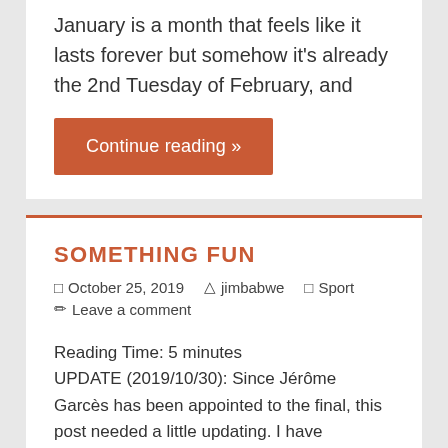January is a month that feels like it lasts forever but somehow it's already the 2nd Tuesday of February, and
Continue reading »
SOMETHING FUN
October 25, 2019   jimbabwe   Sport   Leave a comment
Reading Time: 5 minutes UPDATE (2019/10/30): Since Jérôme Garcès has been appointed to the final, this post needed a little updating. I have refreshed